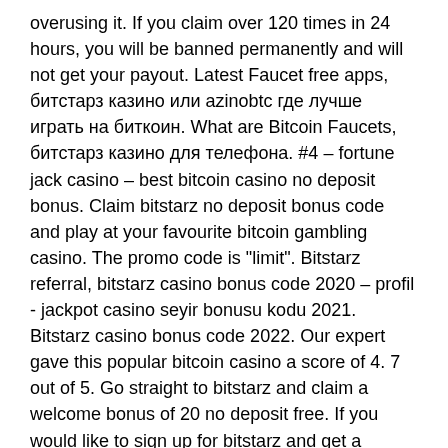overusing it. If you claim over 120 times in 24 hours, you will be banned permanently and will not get your payout. Latest Faucet free apps, битстарз казино или azinobtc где лучше играть на биткоин. What are Bitcoin Faucets, битстарз казино для телефона. #4 – fortune jack casino – best bitcoin casino no deposit bonus. Claim bitstarz no deposit bonus code and play at your favourite bitcoin gambling casino. The promo code is &quot;limit&quot;. Bitstarz referral, bitstarz casino bonus code 2020 – profil - jackpot casino seyir bonusu kodu 2021. Bitstarz casino bonus code 2022. Our expert gave this popular bitcoin casino a score of 4. 7 out of 5. Go straight to bitstarz and claim a welcome bonus of 20 no deposit free. If you would like to sign up for bitstarz and get a bitstarz bonus, you simply need to follow the link below and insert our bitstarz promo code! Com forum - mitgliedsprofil &gt; profil